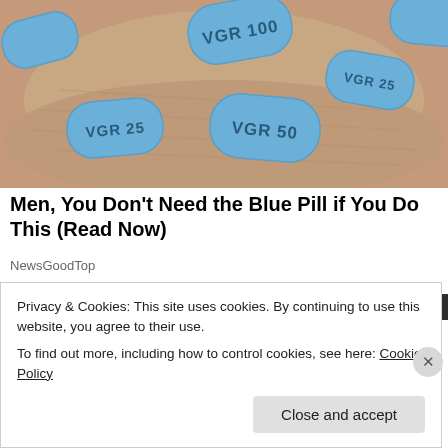[Figure (photo): Close-up photo of a hand holding multiple blue diamond-shaped pills labeled VGR 25, VGR 50, and VGR 100]
Men, You Don't Need the Blue Pill if You Do This (Read Now)
NewsGoodTop
Privacy & Cookies: This site uses cookies. By continuing to use this website, you agree to their use.
To find out more, including how to control cookies, see here: Cookie Policy